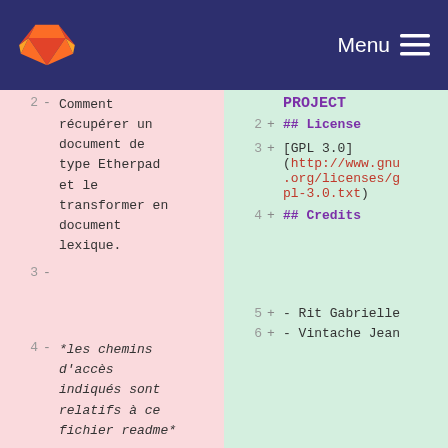Menu
Left diff panel: line 2 - Comment récupérer un document de type Etherpad et le transformer en document lexique.
Right diff panel: PROJECT, line 2 + ## License
Left line 3 -
Right line 3 + [GPL 3.0](http://www.gnu.org/licenses/gpl-3.0.txt)
Left line 4 - *les chemins d'accès indiqués sont relatifs à ce fichier readme*
Right line 4 + ## Credits
Left line 5 -
Right line 5 + - Rit Gabrielle
Left line 6 - 1. Télécharger
Right line 6 + - Vintache Jean